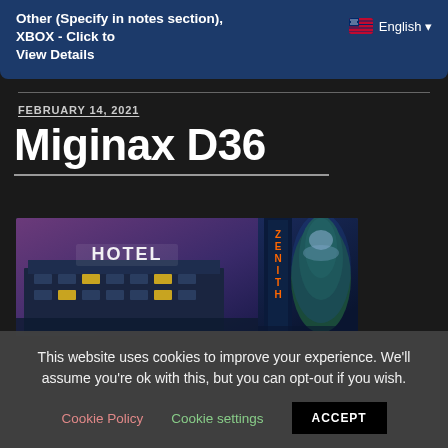Other (Specify in notes section), XBOX - Click to View Details
English
FEBRUARY 14, 2021
Miginax D36
[Figure (photo): Nighttime photo of a hotel building with illuminated HOTEL sign on the left, and a tall vertical sign on the right, with snow-covered trees in the background.]
This website uses cookies to improve your experience. We'll assume you're ok with this, but you can opt-out if you wish.
Cookie Policy	Cookie settings	ACCEPT